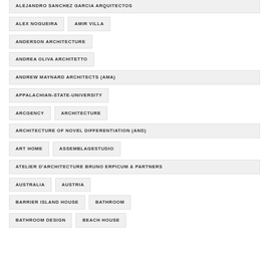ALEJANDRO SANCHEZ GARCIA ARQUITECTOS
ALEX NOGUEIRA
AMIR VILLA
ANDERSON ARCHITECTURE
ANDREA OLIVA ARCHITETTO
ANDREW MAYNARD ARCHITECTS (AMA)
APPALACHIAN-STATE-UNIVERSITY
ARCGENCY
ARCHITECTURE
ARCHITECTURE OF NOVEL DIFFERENTIATION (AND)
ART HOME
ASSEMBLAGESTUDIO
ATELIER D'ARCHITECTURE BRUNO ERPICUM & PARTNERS
AUSTRALIA
AUSTRIA
BARRIER ISLAND HOUSE
BATHROOM
BATHROOM DESIGN
BEACH HOUSE